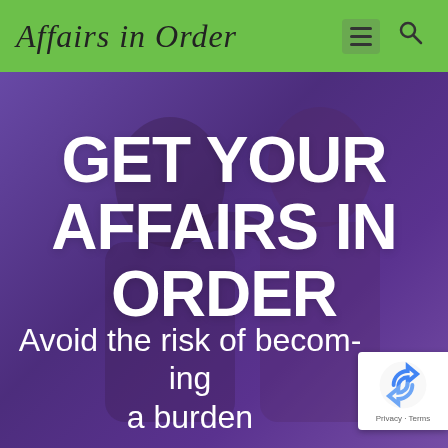Affairs in Order
[Figure (photo): Website screenshot showing a purple-overlaid hero image of a couple appearing distressed or concerned, with a green navigation header bar at top reading 'Affairs in Order' with hamburger menu and search icons, large white bold text 'GET YOUR AFFAIRS IN ORDER' in the center, subtitle text 'Avoid the risk of becoming a burden' at bottom, and a reCAPTCHA Privacy - Terms badge in the bottom right corner.]
GET YOUR AFFAIRS IN ORDER
Avoid the risk of becoming a burden